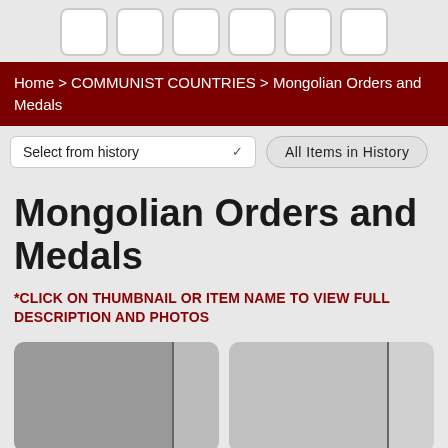[Figure (other): Row of 6 navigation icon boxes at the top of the page]
Home > COMMUNIST COUNTRIES > Mongolian Orders and Medals
Select from history    All Items in History
Mongolian Orders and Medals
*CLICK ON THUMBNAIL OR ITEM NAME TO VIEW FULL DESCRIPTION AND PHOTOS
[Figure (photo): Two product thumbnail image placeholders side by side]